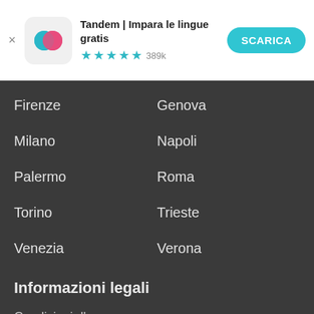[Figure (screenshot): Tandem app banner with logo icon, title, star rating, and download button]
Firenze
Genova
Milano
Napoli
Palermo
Roma
Torino
Trieste
Venezia
Verona
Informazioni legali
Condizioni d'uso
Note legali